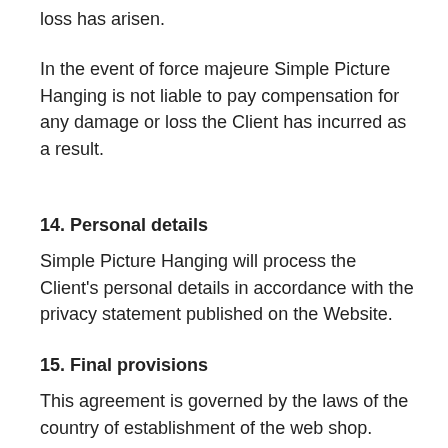loss has arisen.
In the event of force majeure Simple Picture Hanging is not liable to pay compensation for any damage or loss the Client has incurred as a result.
14. Personal details
Simple Picture Hanging will process the Client's personal details in accordance with the privacy statement published on the Website.
15. Final provisions
This agreement is governed by the laws of the country of establishment of the web shop.
So far as not dictated otherwise by mandatory law, any disputes ensuing from the Agreement